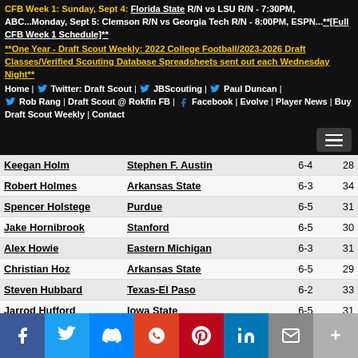CFB Week 1: Sunday, Sept 4: Florida State R/N vs LSU R/N - 7:30PM, ABC...Monday, Sept 5: Clemson R/N vs Georgia Tech R/N - 8:00PM, ESPN...**[Full CFB Week 1 Schedule]** **One Year - Draft Scout Weekly: 2022 College Football/2023-2026 Draft Classes/Verified Scouting Database Spreadsheets sent out each Wednesday Night** Home | Twitter: Draft Scout | JBScouting | Paul Duncan | Rob Rang | Draft Scout @ Rokfin FB | Facebook | Evolve | Player News | Buy Draft Scout Weekly | Contact
| Player | School | Ht | Wt |
| --- | --- | --- | --- |
| Keegan Holm | Stephen F. Austin | 6-4 | 28 |
| Robert Holmes | Arkansas State | 6-3 | 34 |
| Spencer Holstege | Purdue | 6-5 | 31 |
| Jake Hornibrook | Stanford | 6-5 | 30 |
| Alex Howie | Eastern Michigan | 6-3 | 31 |
| Christian Hoz | Arkansas State | 6-5 | 29 |
| Steven Hubbard | Texas-El Paso | 6-2 | 33 |
| Jarrod Hufford | Iowa State | 6-5 | 31 |
| Danielson Ike | Southern Methodist | 6-5 | 31 |
| Ryan Jacoby | Pittsburgh | 6-4 | 30 |
| Tank Jenkins | Houston | 6-2 | 32 |